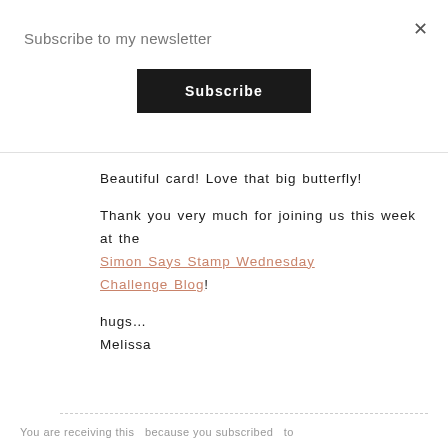×
Subscribe to my newsletter
Subscribe
Beautiful card! Love that big butterfly!

Thank you very much for joining us this week at the Simon Says Stamp Wednesday Challenge Blog!

hugs…
Melissa